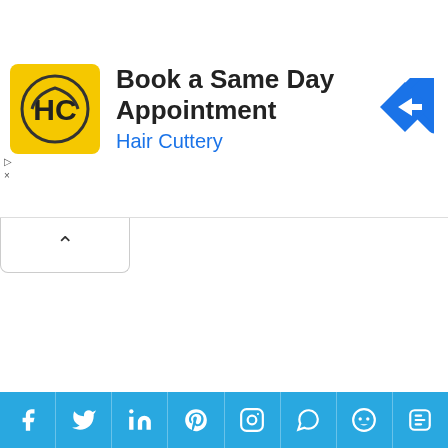[Figure (infographic): Hair Cuttery advertisement banner: yellow logo with HC text, title 'Book a Same Day Appointment', subtitle 'Hair Cuttery', blue diamond arrow icon on right]
[Figure (infographic): White collapse/minimize tab with upward caret arrow]
We use cookies on our website to give you the most relevant experience by remembering your preferences and repeat visits. By clicking “Accept”, you consent to the use of ALL the cookies.
Do not sell my personal information.
Cookie settings   ACCEPT
[Figure (infographic): Social media icon bar with Facebook, Twitter, LinkedIn, Pinterest, Instagram, WhatsApp, Reddit, Blogger icons on blue background]